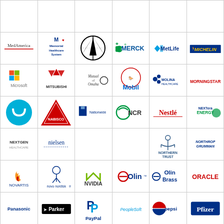[Figure (logo): Grid of company logos including MedAmerica, Memorial Healthcare System, Mercedes-Benz, Merck, MetLife, Michelin, Microsoft, Mitsubishi, Mutual of Omaha, Mobil, Molina Healthcare, Morningstar, Motorola, Nabisco, Nationwide, NCR, Nestle, NextEra Energy, NextGen Healthcare, Nielsen, Northern Trust, Northrop Grumman, Novartis, Novo Nordisk, NVIDIA, Olin, Olin Brass, Oracle, Panasonic, Parker, PayPal, PeopleSoft, Pepsi, Pfizer]